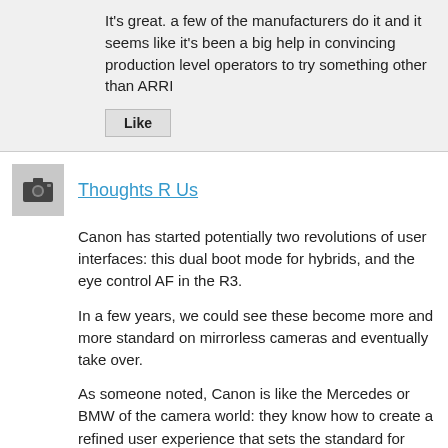It's great. a few of the manufacturers do it and it seems like it's been a big help in convincing production level operators to try something other than ARRI
Like
Thoughts R Us
Canon has started potentially two revolutions of user interfaces: this dual boot mode for hybrids, and the eye control AF in the R3.

In a few years, we could see these become more and more standard on mirrorless cameras and eventually take over.

As someone noted, Canon is like the Mercedes or BMW of the camera world: they know how to create a refined user experience that sets the standard for others.
Reply | Like 5